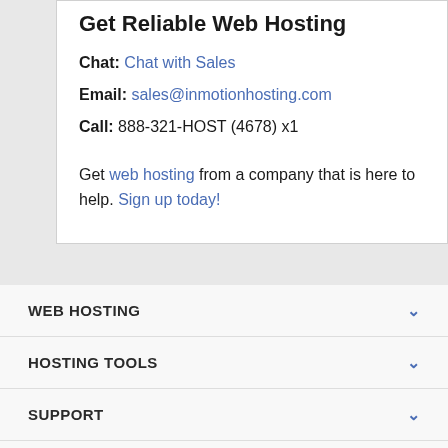Get Reliable Web Hosting
Chat: Chat with Sales
Email: sales@inmotionhosting.com
Call: 888-321-HOST (4678) x1
Get web hosting from a company that is here to help. Sign up today!
WEB HOSTING
HOSTING TOOLS
SUPPORT
ABOUT US